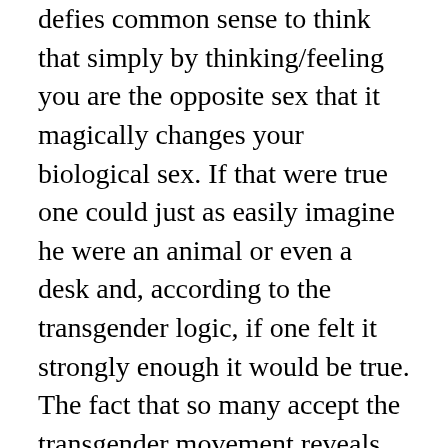defies common sense to think that simply by thinking/feeling you are the opposite sex that it magically changes your biological sex. If that were true one could just as easily imagine he were an animal or even a desk and, according to the transgender logic, if one felt it strongly enough it would be true. The fact that so many accept the transgender movement reveals that God has given many over to a debased mind as described in Romans 1:28 or they are too scared to declare otherwise.
The culture and even many churches